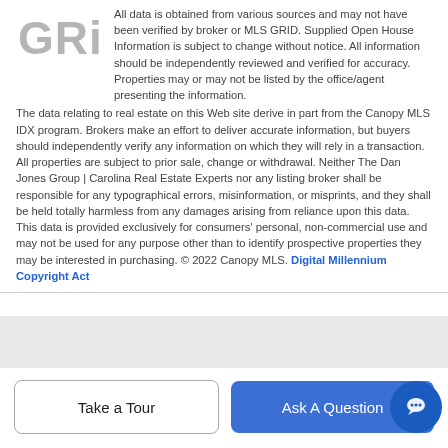[Figure (logo): MLS GRID logo — large gray stylized letters spelling GRiD]
All data is obtained from various sources and may not have been verified by broker or MLS GRID. Supplied Open House Information is subject to change without notice. All information should be independently reviewed and verified for accuracy. Properties may or may not be listed by the office/agent presenting the information.The data relating to real estate on this Web site derive in part from the Canopy MLS IDX program. Brokers make an effort to deliver accurate information, but buyers should independently verify any information on which they will rely in a transaction. All properties are subject to prior sale, change or withdrawal. Neither The Dan Jones Group | Carolina Real Estate Experts nor any listing broker shall be responsible for any typographical errors, misinformation, or misprints, and they shall be held totally harmless from any damages arising from reliance upon this data. This data is provided exclusively for consumers' personal, non-commercial use and may not be used for any purpose other than to identify prospective properties they may be interested in purchasing. © 2022 Canopy MLS. Digital Millennium Copyright Act
Take a Tour
Ask A Question